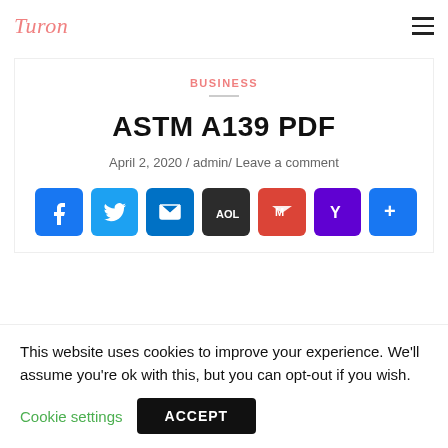Turon
BUSINESS
ASTM A139 PDF
April 2, 2020 / admin/ Leave a comment
[Figure (other): Social sharing icons: Facebook, Twitter, Email, AOL, Gmail, Yahoo, More]
This website uses cookies to improve your experience. We'll assume you're ok with this, but you can opt-out if you wish.
Cookie settings   ACCEPT